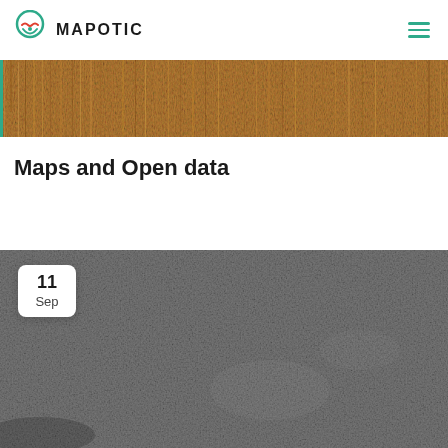MAPOTIC
[Figure (photo): Top banner showing dry grass or fur texture in warm brown/golden tones]
Maps and Open data
[Figure (photo): Dark grey textured surface (concrete or asphalt), with a date badge showing '11 Sep' in the upper left corner]